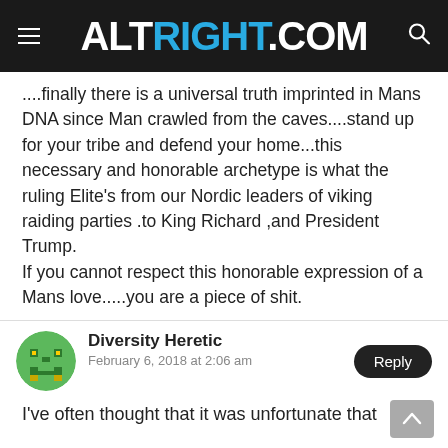ALTRIGHT.COM
....finally there is a universal truth imprinted in Mans DNA since Man crawled from the caves....stand up for your tribe and defend your home...this necessary and honorable archetype is what the ruling Elite’s from our Nordic leaders of viking raiding parties .to King Richard ,and President Trump.
If you cannot respect this honorable expression of a Mans love.....you are a piece of shit.
Diversity Heretic
February 6, 2018 at 2:06 am
I’ve often thought that it was unfortunate that